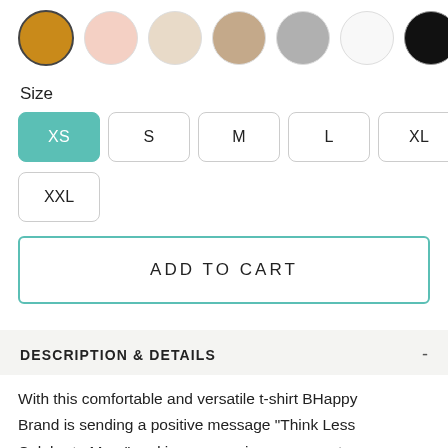[Figure (other): Color swatches row: gold (selected with border), blush pink, cream, tan/taupe, gray, white, black]
Size
XS  S  M  L  XL  XXL (size selector buttons, XS selected in teal)
ADD TO CART
DESCRIPTION & DETAILS
With this comfortable and versatile t-shirt BHappy Brand is sending a positive message "Think Less Celebrate More" and is encouraging everyone to